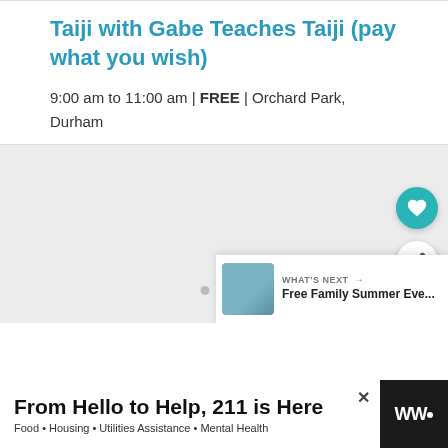Taiji with Gabe Teaches Taiji (pay what you wish)
9:00 am to 11:00 am | FREE | Orchard Park, Durham
[Figure (photo): Event image area with dot navigation indicators and a light grey placeholder]
WHAT'S NEXT → Free Family Summer Eve...
From Hello to Help, 211 is Here  Food • Housing • Utilities Assistance • Mental Health